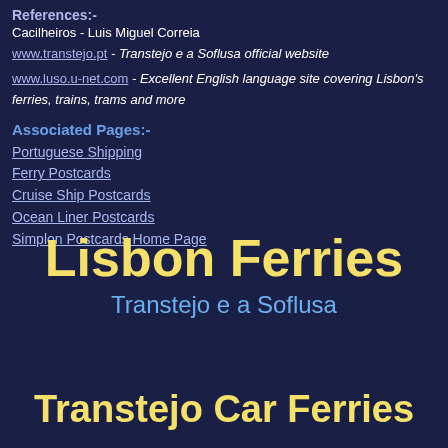References:-
Cacilheiros - Luis Miguel Correia
www.transtejo.pt - Transtejo e a Soflusa official website
www.luso.u-net.com - Excellent English language site covering Lisbon's ferries, trains, trams and more
Associated Pages:-
Portuguese Shipping
Ferry Postcards
Cruise Ship Postcards
Ocean Liner Postcards
Simplon Postcards Home Page
Lisbon Ferries
Transtejo e a Soflusa
Transtejo Car Ferries